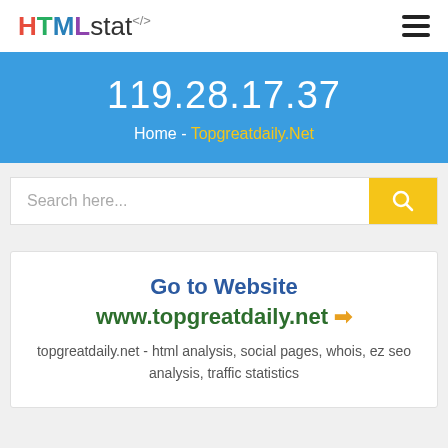HTMLstat<> - navigation logo and hamburger menu
119.28.17.37
Home - Topgreatdaily.Net
Search here...
Go to Website www.topgreatdaily.net →
topgreatdaily.net - html analysis, social pages, whois, ez seo analysis, traffic statistics